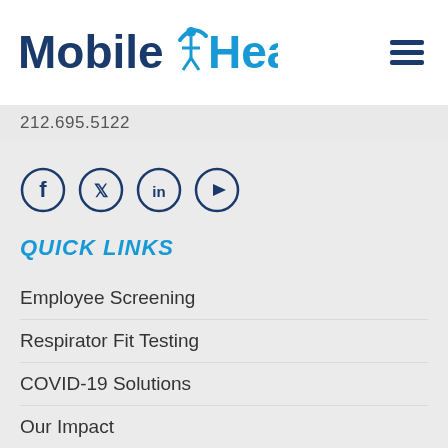[Figure (logo): Mobile Health logo with stylized figure icon, text 'Mobile Health' in blue tones]
212.695.5122
[Figure (infographic): Social media icons: Facebook, Twitter, LinkedIn, YouTube — circular outlined icons in dark navy blue]
QUICK LINKS
Employee Screening
Respirator Fit Testing
COVID-19 Solutions
Our Impact
Our Reputation